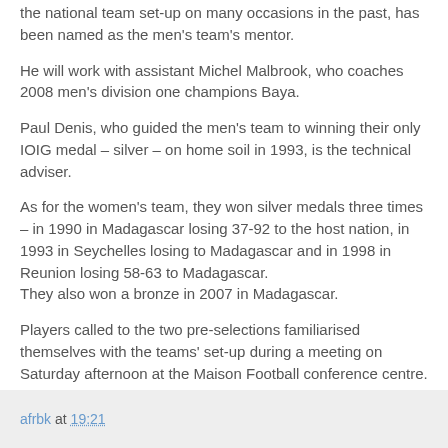the national team set-up on many occasions in the past, has been named as the men's team's mentor.
He will work with assistant Michel Malbrook, who coaches 2008 men's division one champions Baya.
Paul Denis, who guided the men's team to winning their only IOIG medal – silver – on home soil in 1993, is the technical adviser.
As for the women's team, they won silver medals three times – in 1990 in Madagascar losing 37-92 to the host nation, in 1993 in Seychelles losing to Madagascar and in 1998 in Reunion losing 58-63 to Madagascar.
They also won a bronze in 2007 in Madagascar.
Players called to the two pre-selections familiarised themselves with the teams' set-up during a meeting on Saturday afternoon at the Maison Football conference centre.
afrbk at 19:21